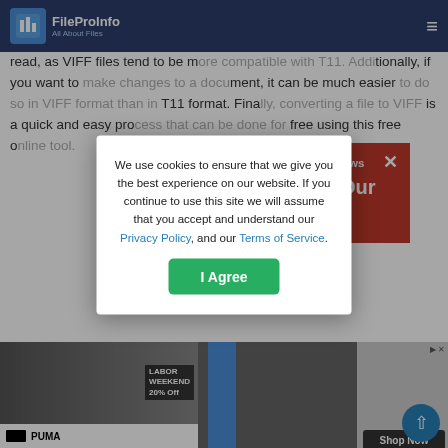FileProInfo | All About Files
read on any device, whereas a T11 file is limited to devices that support the T11 format. Converting a T11 to VIFF also makes the text easier to read, as VIFF files tend to be more compatible with T11. Additionally, if you want to make changes to a document, it can be much easier to do so in VIFF format than in T11 format. Finally, converting a file to VIFF is a quick and easy process that can be done for free using this free on[line tool].
[Figure (screenshot): Red promotional banner overlay reading 'SEO Guide | Tech News' and 'Introducing Our Other Free' with an X close button]
[Figure (screenshot): Cookie consent modal dialog with text about cookies, Privacy Policy and Terms of Service links, and an I Agree button]
[Figure (screenshot): Bottom advertisement area showing a PUMA Labor Weekend 20% Off ad on the left and a Shop Now button on the right, with a blue scroll-to-top arrow button]